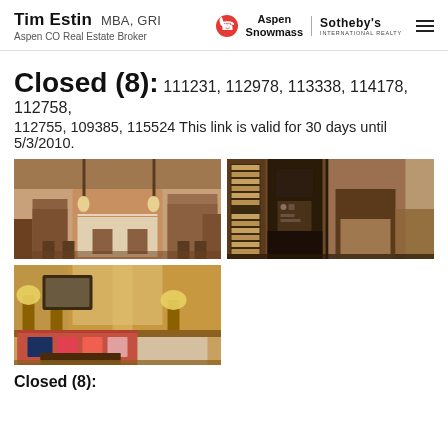Tim Estin MBA, GRI — Aspen CO Real Estate Broker — Aspen Snowmass Sotheby's International Realty
Closed (8): 111231, 112978, 113338, 114178, 112758, 112755, 109385, 115524 This link is valid for 30 days until 5/3/2010.
[Figure (photo): Interior photo of a kitchen with dark wood cabinetry, pendant lights, and a bar area with stools]
[Figure (photo): Interior photo of a living room with built-in bookshelves, a stone fireplace, TV, and armchair]
[Figure (photo): Interior photo of a cozy living room with red sofa, decorative pillows, a framed painting, and a coffee table with lamps]
Closed (8):